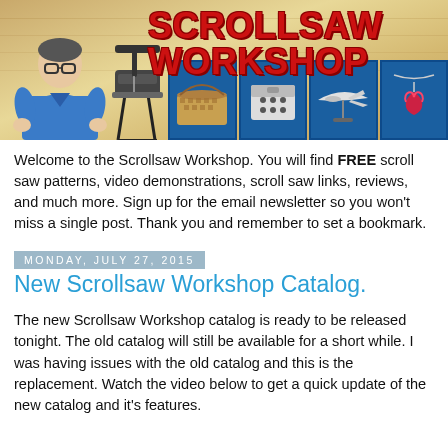[Figure (illustration): Scrollsaw Workshop banner with red bold title text 'SCROLLSAW WORKSHOP' on wood-textured background, man in blue shirt on left, scroll saw equipment, and four thumbnail images of scroll saw projects]
Welcome to the Scrollsaw Workshop. You will find FREE scroll saw patterns, video demonstrations, scroll saw links, reviews, and much more. Sign up for the email newsletter so you won't miss a single post. Thank you and remember to set a bookmark.
Monday, July 27, 2015
New Scrollsaw Workshop Catalog.
The new Scrollsaw Workshop catalog is ready to be released tonight. The old catalog will still be available for a short while. I was having issues with the old catalog and this is the replacement. Watch the video below to get a quick update of the new catalog and it's features.